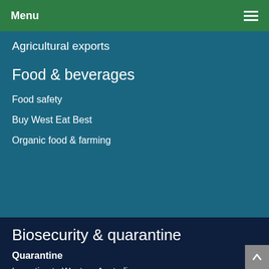Menu
Agricultural exports
Food & beverages
Food safety
Buy West Eat Best
Organic food & farming
Biosecurity & quarantine
Quarantine
Importing to Western Australia